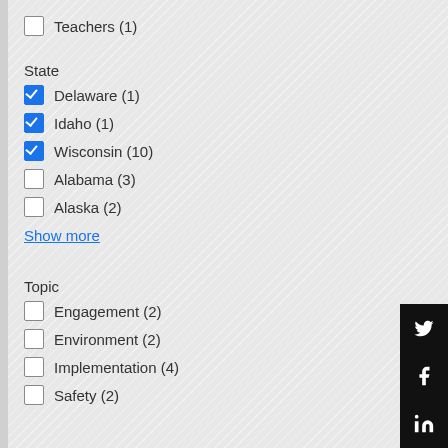Teachers (1)
State
Delaware (1) [checked]
Idaho (1) [checked]
Wisconsin (10) [checked]
Alabama (3)
Alaska (2)
Show more
Topic
Engagement (2)
Environment (2)
Implementation (4)
Safety (2)